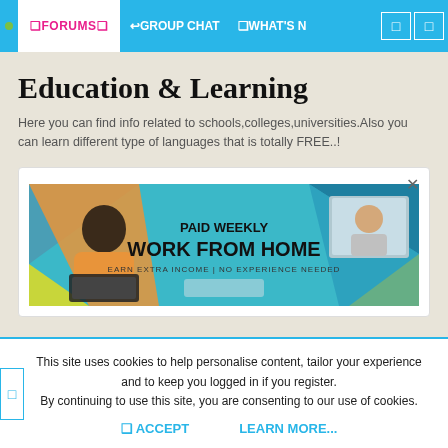FORUMS  GROUP CHAT  WHAT'S N
Education & Learning
Here you can find info related to schools,colleges,universities.Also you can learn different type of languages that is totally FREE..!
[Figure (screenshot): Advertisement banner with blue geometric background showing 'PAID WEEKLY / WORK FROM HOME / EARN EXTRA INCOME | NO EXPERIENCE NEEDED' with an illustration of a person working on a laptop on the left and a photo of a person on the right.]
This site uses cookies to help personalise content, tailor your experience and to keep you logged in if you register.
By continuing to use this site, you are consenting to our use of cookies.
ACCEPT    LEARN MORE...